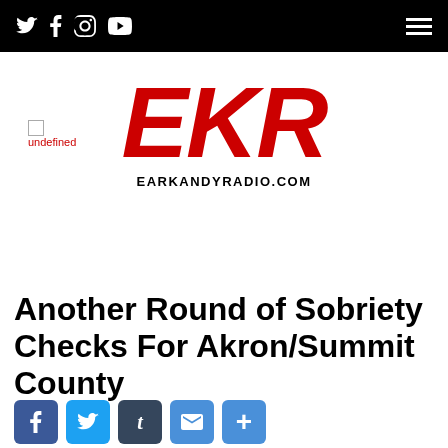Navigation bar with social icons (Twitter, Facebook, Instagram, YouTube) and hamburger menu
[Figure (logo): Broken/undefined image placeholder in top left]
[Figure (logo): EKR logo in bold red italic text with EARKANDYRADIO.COM below]
Another Round of Sobriety Checks For Akron/Summit County
[Figure (infographic): Social share buttons: Facebook, Twitter, Tumblr, Email, More]